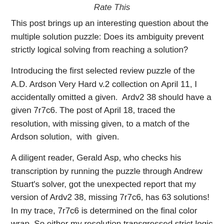Rate This
This post brings up an interesting question about the multiple solution puzzle: Does its ambiguity prevent strictly logical solving from reaching a solution?
Introducing the first selected review puzzle of the A.D. Ardson Very Hard v.2 collection on April 11, I accidentally omitted a given.  Ardv2 38 should have a given 7r7c6.  The post of April 18, traced the resolution, with missing given, to a match of the Ardson solution,  with  given.
A diligent reader, Gerald Asp, who checks his transcription by running the puzzle through Andrew Stuart's solver, got the unexpected report that my version of Ardv2 38, missing 7r7c6, has 63 solutions! In my trace, 7r7c6 is determined on the final color wrap. So either my resolution transgressed strict logic at some earlier point, making an